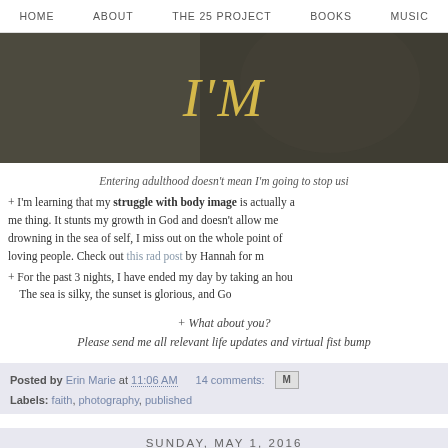HOME   ABOUT   THE 25 PROJECT   BOOKS   MUSIC
[Figure (photo): Dark-toned hero image with large italic gold text reading I'M, person in dark jacket visible]
Entering adulthood doesn't mean I'm going to stop usi
+ I'm learning that my struggle with body image is actually a me thing. It stunts my growth in God and doesn't allow me drowning in the sea of self, I miss out on the whole point of loving people. Check out this rad post by Hannah for m
+ For the past 3 nights, I have ended my day by taking an hou The sea is silky, the sunset is glorious, and Go
+ What about you?
Please send me all relevant life updates and virtual fist bump
Posted by Erin Marie at 11:06 AM   14 comments:
Labels: faith, photography, published
SUNDAY, MAY 1, 2016